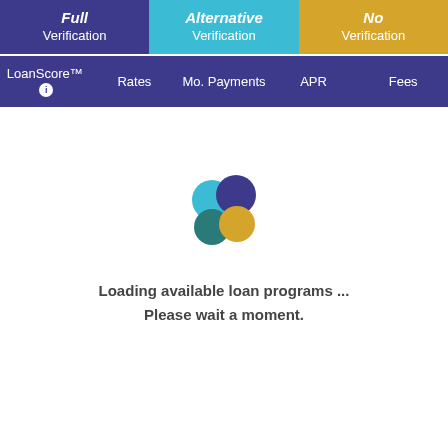Full Verification | Alternative Verification | No Verification
LoanScore™ ℹ  Rates  Mo. Payments  APR  Fees
[Figure (logo): Four colored circles arranged in a 2x2 pattern: top-left teal/cyan, top-right dark purple, bottom-left dark teal, bottom-right gold/orange — forming a loading spinner logo]
Loading available loan programs ...
Please wait a moment.